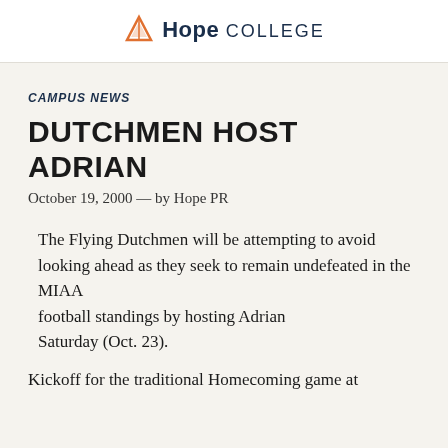Hope College
CAMPUS NEWS
DUTCHMEN HOST ADRIAN
October 19, 2000 — by Hope PR
The Flying Dutchmen will be attempting to avoid looking ahead as they seek to remain undefeated in the MIAA football standings by hosting Adrian Saturday (Oct. 23).
Kickoff for the traditional Homecoming game at